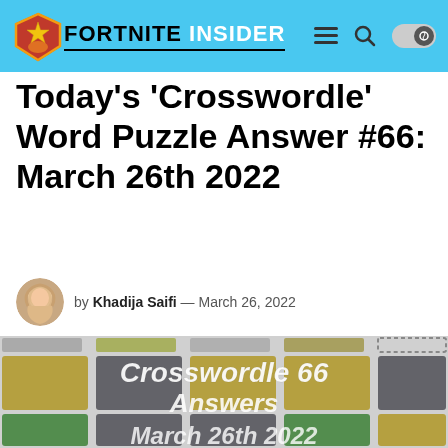FORTNITE INSIDER
Today’s ‘Crosswordle’ Word Puzzle Answer #66: March 26th 2022
by Khadija Saifi — March 26, 2022
[Figure (screenshot): Crosswordle 66 Answers March 26th 2022 - colored grid of olive/gold, gray, and green tiles arranged in rows with text overlay reading 'Crosswordle 66 Answers March 26th 2022']